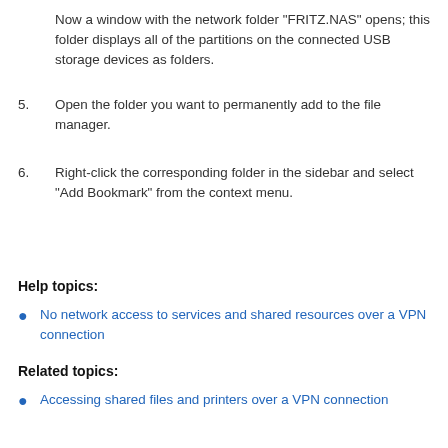Now a window with the network folder "FRITZ.NAS" opens; this folder displays all of the partitions on the connected USB storage devices as folders.
5. Open the folder you want to permanently add to the file manager.
6. Right-click the corresponding folder in the sidebar and select "Add Bookmark" from the context menu.
Help topics:
No network access to services and shared resources over a VPN connection
Related topics:
Accessing shared files and printers over a VPN connection